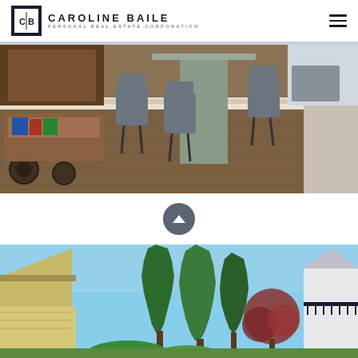Caroline Baile Personal Real Estate Corporation
[Figure (photo): Interior dining room photo showing hardwood floors, a wooden dining table with grey upholstered chairs, and a vintage bar cart with books and decorative items on the left]
[Figure (other): Dark grey circular button with upward-pointing triangle/chevron icon]
[Figure (photo): Exterior photo of residential property showing rooflines, tall evergreen trees, a red-leafed tree, blue sky, and neighbouring houses]